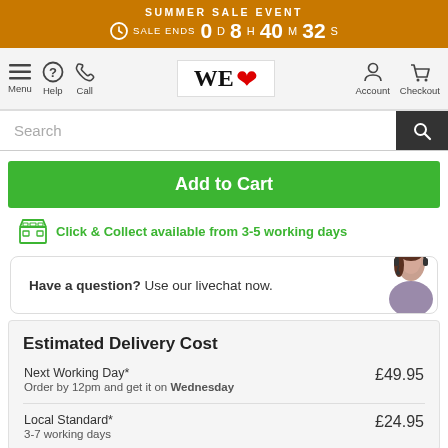SUMMER SALE EVENT — SALE ENDS 0D 8H 40M 32S
[Figure (screenshot): Navigation bar with Menu, Help, Call, WE LOVE logo, Account, Checkout icons]
Search
Add to Cart
Click & Collect available from 3-5 working days
Have a question? Use our livechat now.
Estimated Delivery Cost
| Delivery Option | Price |
| --- | --- |
| Next Working Day* — Order by 12pm and get it on Wednesday | £49.95 |
| Local Standard* — 3-7 working days | £24.95 |